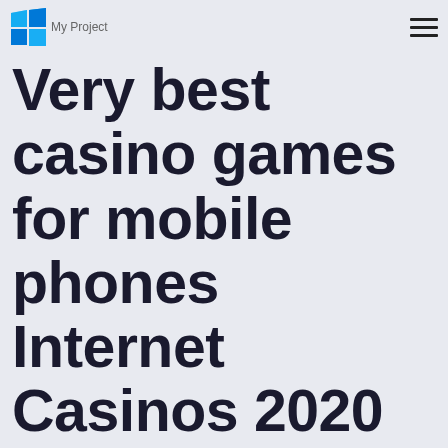Very best casino [logo + nav]
Very best casino games for mobile phones Internet Casinos 2020